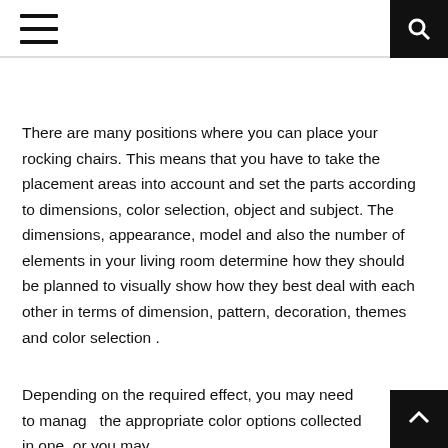[hamburger menu icon] [search icon]
There are many positions where you can place your rocking chairs. This means that you have to take the placement areas into account and set the parts according to dimensions, color selection, object and subject. The dimensions, appearance, model and also the number of elements in your living room determine how they should be planned to visually show how they best deal with each other in terms of dimension, pattern, decoration, themes and color selection .
Depending on the required effect, you may need to manage the appropriate color options collected in one, or you may